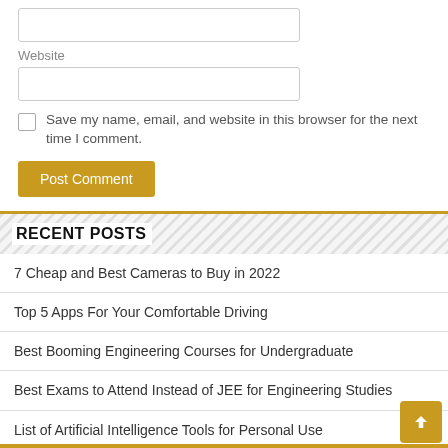Website
Save my name, email, and website in this browser for the next time I comment.
Post Comment
RECENT POSTS
7 Cheap and Best Cameras to Buy in 2022
Top 5 Apps For Your Comfortable Driving
Best Booming Engineering Courses for Undergraduate
Best Exams to Attend Instead of JEE for Engineering Studies
List of Artificial Intelligence Tools for Personal Use